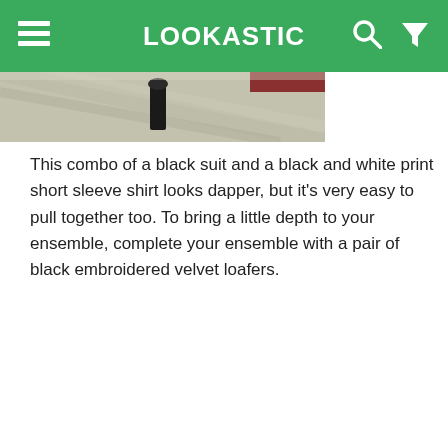LOOKASTIC
[Figure (photo): Partial photo of a fashion outfit scene, showing what appears to be textured fabric or surface detail with a dark vertical element and a red accent strip.]
This combo of a black suit and a black and white print short sleeve shirt looks dapper, but it's very easy to pull together too. To bring a little depth to your ensemble, complete your ensemble with a pair of black embroidered velvet loafers.